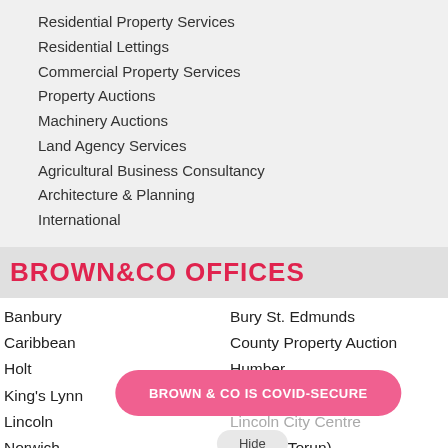Residential Property Services
Residential Lettings
Commercial Property Services
Property Auctions
Machinery Auctions
Land Agency Services
Agricultural Business Consultancy
Architecture & Planning
International
BROWN&CO OFFICES
Banbury
Bury St. Edmunds
Caribbean
County Property Auction
Holt
Humber
King's Lynn
Lincoln
Lincoln City Centre
Norwich
Poland (Torun)
Retford
Romania
St Neots
BROWN & CO IS COVID-SECURE
Hide
This site complies with the Privacy and Electronic Communications (EC Directive) Regulations 2003 relating to cookies. Click here to